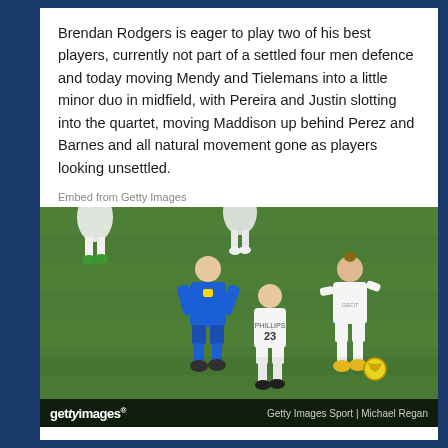Brendan Rodgers is eager to play two of his best players, currently not part of a settled four men defence and today moving Mendy and Tielemans into a little minor duo in midfield, with Pereira and Justin slotting into the quartet, moving Maddison up behind Perez and Barnes and all natural movement gone as players looking unsettled.
Embed from Getty Images
[Figure (photo): Football match photo showing Leicester City player in blue kit dribbling against Leeds United players in white kit including number 23 Phillips on a green grass pitch. Getty Images Sport photo by Michael Regan.]